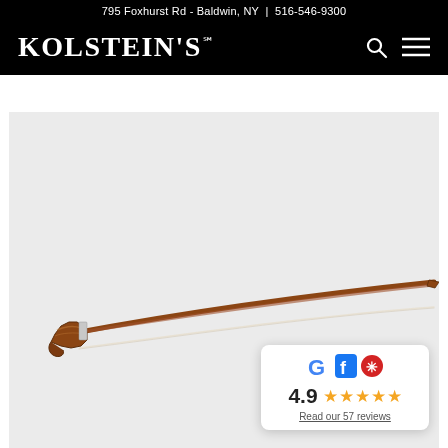795 Foxhurst Rd - Baldwin, NY | 516-546-9300
KOLSTEIN'S
[Figure (photo): A wooden violin/viola bow photographed diagonally across a light grey background. The bow is made of warm brown wood with a traditional frog and a white horsehair stick, photographed at a slight diagonal angle.]
[Figure (infographic): Review badge showing Google, Facebook, and Yelp logos, a 4.9 star rating with 5 gold stars, and a link reading 'Read our 57 reviews']